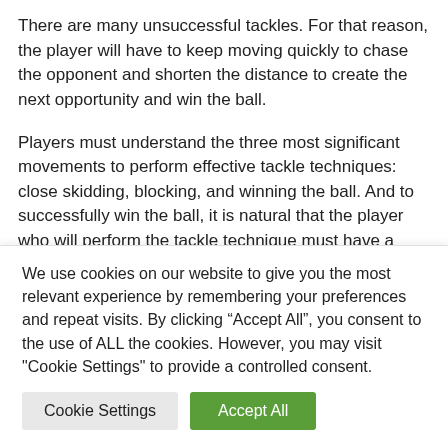There are many unsuccessful tackles. For that reason, the player will have to keep moving quickly to chase the opponent and shorten the distance to create the next opportunity and win the ball.
Players must understand the three most significant movements to perform effective tackle techniques: close skidding, blocking, and winning the ball. And to successfully win the ball, it is natural that the player who will perform the tackle technique must have a good speed.
In which position will the player often tackle the ball?
We use cookies on our website to give you the most relevant experience by remembering your preferences and repeat visits. By clicking “Accept All”, you consent to the use of ALL the cookies. However, you may visit "Cookie Settings" to provide a controlled consent.